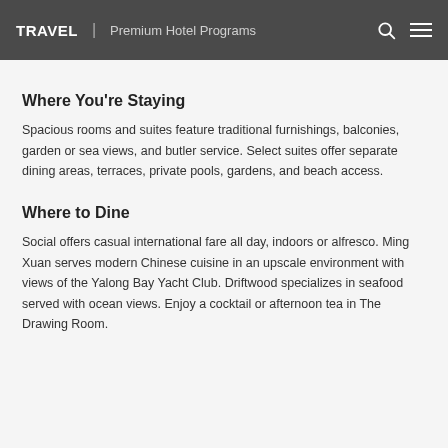TRAVEL | Premium Hotel Programs
Where You're Staying
Spacious rooms and suites feature traditional furnishings, balconies, garden or sea views, and butler service. Select suites offer separate dining areas, terraces, private pools, gardens, and beach access.
Where to Dine
Social offers casual international fare all day, indoors or alfresco. Ming Xuan serves modern Chinese cuisine in an upscale environment with views of the Yalong Bay Yacht Club. Driftwood specializes in seafood served with ocean views. Enjoy a cocktail or afternoon tea in The Drawing Room.